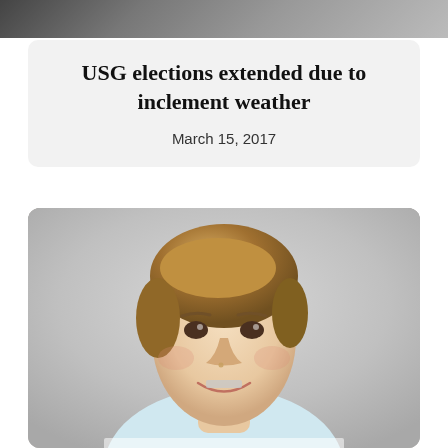[Figure (photo): Partial photo at top of page, cropped, showing indistinct figures]
USG elections extended due to inclement weather
March 15, 2017
[Figure (photo): Portrait photo of a young man with blonde-brown hair, wearing a light blue striped shirt, smiling with braces, against a grey background]